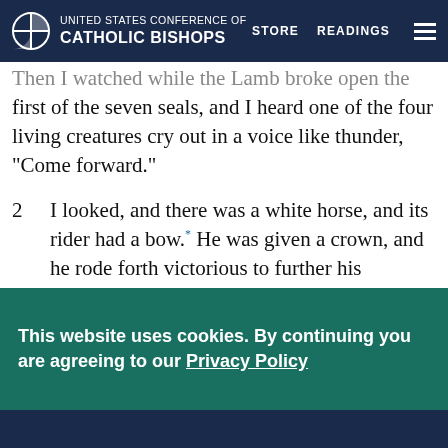UNITED STATES CONFERENCE OF CATHOLIC BISHOPS | STORE | READINGS
Then I watched while the Lamb broke open the first of the seven seals, and I heard one of the four living creatures cry out in a voice like thunder, “Come forward.”
2  I looked, and there was a white horse, and its rider had a bow.* He was given a crown, and he rode forth victorious to further his victories.a
3  When he broke open the second seal, I heard the second living creature cry out, “Come forward.”
This website uses cookies. By continuing you are agreeing to our Privacy Policy